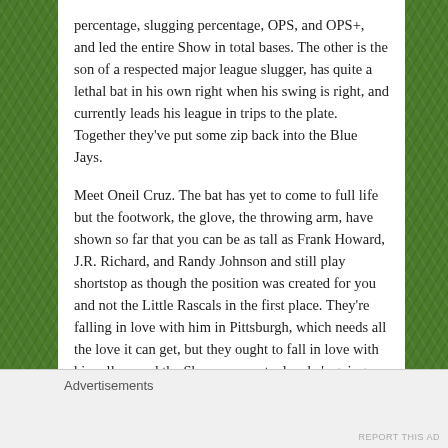percentage, slugging percentage, OPS, and OPS+, and led the entire Show in total bases. The other is the son of a respected major league slugger, has quite a lethal bat in his own right when his swing is right, and currently leads his league in trips to the plate. Together they've put some zip back into the Blue Jays.
Meet Oneil Cruz. The bat has yet to come to full life but the footwork, the glove, the throwing arm, have shown so far that you can be as tall as Frank Howard, J.R. Richard, and Randy Johnson and still play shortstop as though the position was created for you and not the Little Rascals in the first place. They're falling in love with him in Pittsburgh, which needs all the love it can get, but they ought to fall in love with him all around the Show—except when he's going so deep into the hole grabbing a grounder or a hopper that an enemy
Advertisements